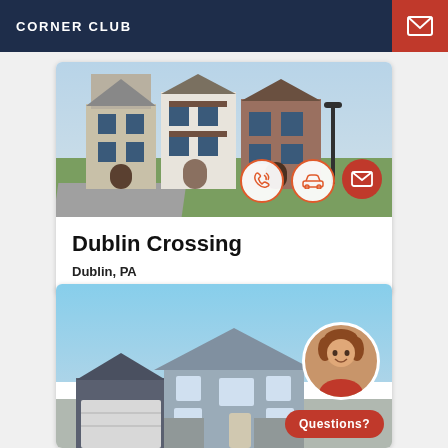CORNER CLUB
[Figure (photo): Townhouse development photo with phone, car, and mail contact icons overlaid]
Dublin Crossing
Dublin, PA
[Figure (photo): Single-family home photo with blue sky background; agent avatar and Questions? chat bubble in corner]